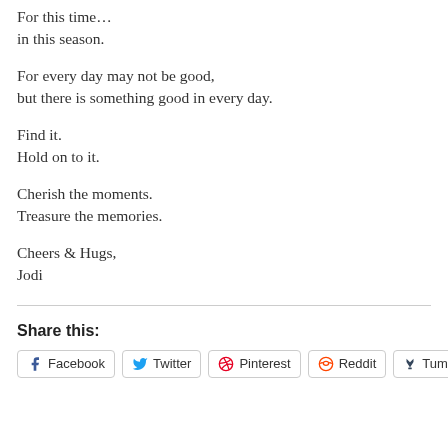For this time…
in this season.
For every day may not be good,
but there is something good in every day.
Find it.
Hold on to it.
Cherish the moments.
Treasure the memories.
Cheers & Hugs,
Jodi
Share this:
Facebook   Twitter   Pinterest   Reddit   Tumblr